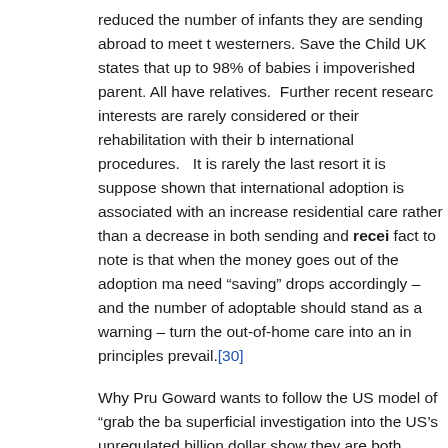reduced the number of infants they are sending abroad to meet the demand of westerners. Save the Child UK states that up to 98% of babies in impoverished parent. All have relatives. Further recent research interests are rarely considered or their rehabilitation with their b international procedures. It is rarely the last resort it is supposed shown that international adoption is associated with an increase in residential care rather than a decrease in both sending and receiving countries. A fact to note is that when the money goes out of the adoption ma need "saving" drops accordingly – and the number of adoptable should stand as a warning – turn the out-of-home care into an in principles prevail.[30]
Why Pru Goward wants to follow the US model of "grab the ba superficial investigation into the US's unregulated billion dollar show they are both riddled with unquestionable practices, explo disregard for maternal rights.[33] The US industry is criticised and in the US for being enormously wasteful, totally inefficient the children within the system.[34]